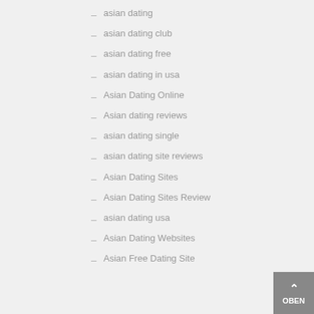– asian dating
– asian dating club
– asian dating free
– asian dating in usa
– Asian Dating Online
– Asian dating reviews
– asian dating single
– asian dating site reviews
– Asian Dating Sites
– Asian Dating Sites Review
– asian dating usa
– Asian Dating Websites
– Asian Free Dating Site